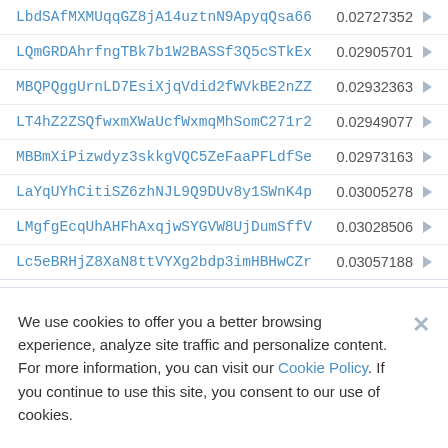LbdSAfMXMUqqGZ8jA14uztnN9ApyqQsa66  0.02727352
LQmGRDAhrfngTBk7b1W2BASSf3Q5cSTkEx  0.02905701
MBQPQggUrnLD7EsiXjqVdid2fWVkBE2nZZ  0.02932363
LT4hZ2ZSQfwxmXWaUcfWxmqMhSomC271r2  0.02949077
MBBmXiPizwdyz3skkgVQC5ZeFaaPFLdfSe  0.02973163
LaYqUYhCitiSZ6zhNJL9Q9DUv8y1SWnK4p  0.03005278
LMgfgEcqUhAHFhAxqjwSYGVW8UjDumSffV  0.03028506
Lc5eBRHjZ8XaN8ttVYXg2bdp3imHBHwCZr  0.03057188
We use cookies to offer you a better browsing experience, analyze site traffic and personalize content. For more information, you can visit our Cookie Policy. If you continue to use this site, you consent to our use of cookies.